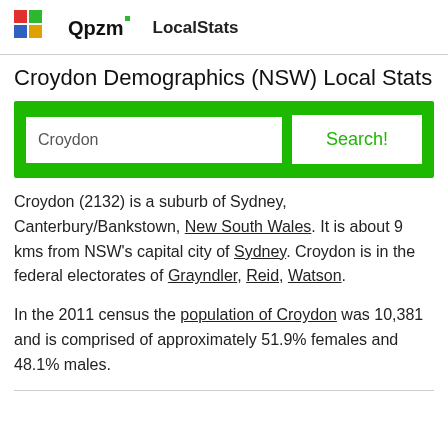Qpzm LocalStats
Croydon Demographics (NSW) Local Stats
[Figure (other): Search box with input showing 'Croydon' and a green Search! button on green background]
Croydon (2132) is a suburb of Sydney, Canterbury/Bankstown, New South Wales. It is about 9 kms from NSW's capital city of Sydney. Croydon is in the federal electorates of Grayndler, Reid, Watson.
In the 2011 census the population of Croydon was 10,381 and is comprised of approximately 51.9% females and 48.1% males.